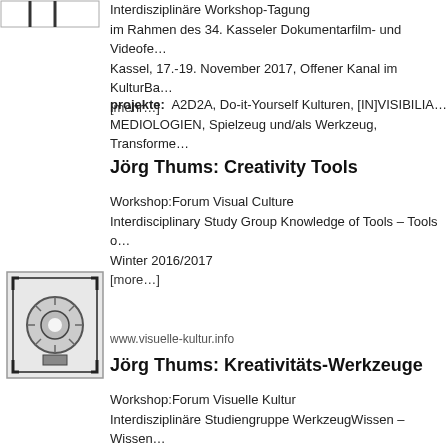[Figure (illustration): Small black and white abstract logo/image at top left with vertical bar marks]
Interdisziplinäre Workshop-Tagung
im Rahmen des 34. Kasseler Dokumentarfilm- und Videofe...
Kassel, 17.-19. November 2017, Offener Kanal im KulturBa...
[mehr…]
projekte: A2D2A, Do-it-Yourself Kulturen, [IN]VISIBILIA...
MEDIOLOGIEN, Spielzeug und/als Werkzeug, Transforme...
Jörg Thums: Creativity Tools
Workshop:Forum Visual Culture
Interdisciplinary Study Group Knowledge of Tools – Tools o...
Winter 2016/2017
[more…]
[Figure (illustration): Black and white illustration of a camera or projector lens icon inside a frame with bracket markings]
www.visuelle-kultur.info
Jörg Thums: Kreativitäts-Werkzeuge
Workshop:Forum Visuelle Kultur
Interdisziplinäre Studiengruppe WerkzeugWissen – Wissen...
WS 2016/2017
[mehr…]